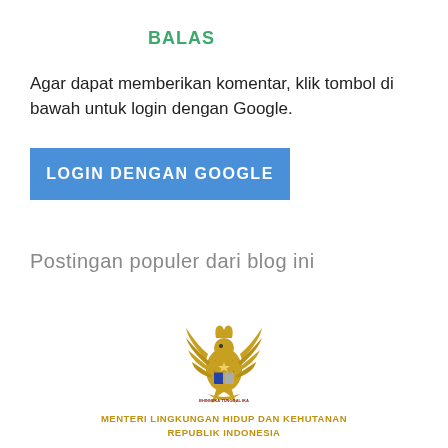BALAS
Agar dapat memberikan komentar, klik tombol di bawah untuk login dengan Google.
[Figure (screenshot): Blue button labeled LOGIN DENGAN GOOGLE]
Postingan populer dari blog ini
[Figure (logo): Garuda Pancasila emblem — golden eagle coat of arms of Indonesia]
MENTERI LINGKUNGAN HIDUP DAN KEHUTANAN REPUBLIK INDONESIA